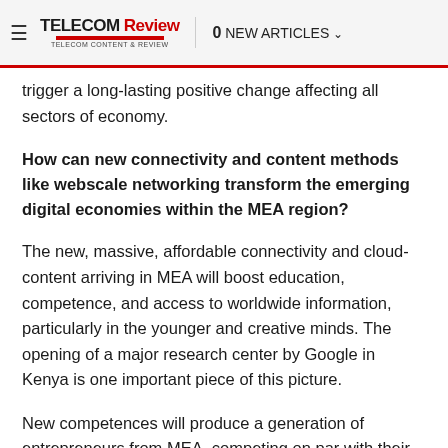≡ TELECOM Review | 0 NEW ARTICLES
trigger a long-lasting positive change affecting all sectors of economy.
How can new connectivity and content methods like webscale networking transform the emerging digital economies within the MEA region?
The new, massive, affordable connectivity and cloud-content arriving in MEA will boost education, competence, and access to worldwide information, particularly in the younger and creative minds. The opening of a major research center by Google in Kenya is one important piece of this picture.
New competences will produce a generation of entrepreneurs from MEA, competing on par with their